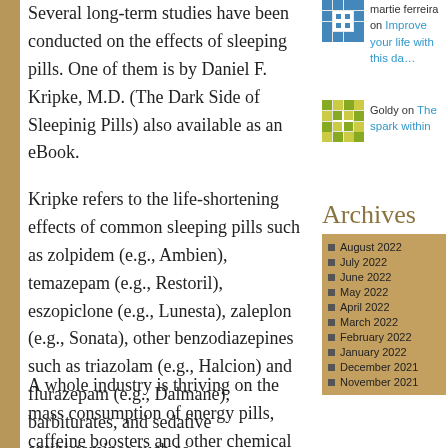Several long-term studies have been conducted on the effects of sleeping pills. One of them is by Daniel F. Kripke, M.D. (The Dark Side of Sleepinig Pills) also available as an eBook.
[Figure (illustration): Patterned square avatar for user 'martie ferreira']
martie ferreira on Improve your life with this da…
[Figure (illustration): Patterned square avatar for user 'Goldy']
Goldy on The spark within
Archives
August 2022
July 2022
June 2022
May 2022
April 2022
March 2022
February 2022
January 2022
December 2021
November 2021
Kripke refers to the life-shortening effects of common sleeping pills such as zolpidem (e.g., Ambien), temazepam (e.g., Restoril), eszopiclone (e.g., Lunesta), zaleplon (e.g., Sonata), other benzodiazepines such as triazolam (e.g., Halcion) and flurazepam (e.g., Dalmane), barbiturates, and sedative antihistamines such as diphenhydramine (e.g., Benadryl).
A whole industry is thriving on the mass consumption of energy pills, caffeine boosters and other chemical cocktails as a growing number of high-professionals and